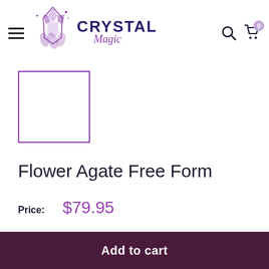Crystal Magic — navigation header with hamburger menu, logo, search icon, and cart (0)
[Figure (other): Product thumbnail placeholder — empty box with purple border]
Flower Agate Free Form
Price: $79.95
Quantity: − 1 +
Add to cart